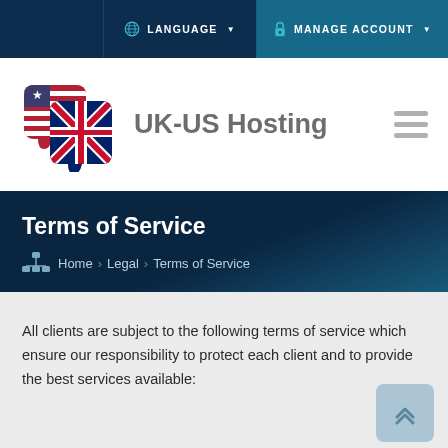LANGUAGE   MANAGE ACCOUNT
[Figure (logo): UK-US Hosting logo with puzzle pieces shaped as UK and US flags, with text 'UK-US Hosting']
Terms of Service
Home > Legal > Terms of Service
All clients are subject to the following terms of service which ensure our responsibility to protect each client and to provide the best services available: